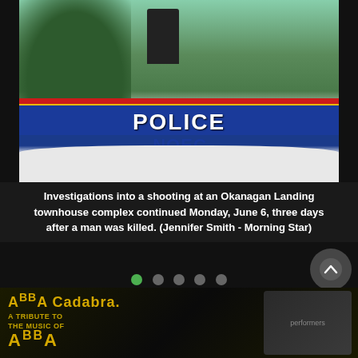[Figure (photo): RCMP police vehicle parked near a townhouse complex with a yellow police tape and an officer standing in the background near trees. The police car shows the word POLICE prominently with RCMP blue, red, and yellow stripes.]
Investigations into a shooting at an Okanagan Landing townhouse complex continued Monday, June 6, three days after a man was killed. (Jennifer Smith - Morning Star)
[Figure (photo): Advertisement banner for ABBA Cadabra - A Tribute to the Music of ABBA, showing the show name in gold stylized text with performers pictured on the right side.]